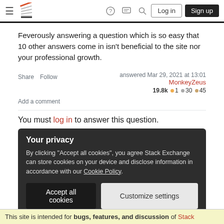Stack Exchange — navigation bar with hamburger, logo, help, chat, search, Log in, Sign up
Feverously answering a question which is so easy that 10 other answers come in isn't beneficial to the site nor your professional growth.
Share   Follow   answered Mar 29, 2021 at 13:01   MonkeyZeus   19.8k ● 1 ● 30 ● 45
Add a comment
You must log in to answer this question.
Your privacy
By clicking "Accept all cookies", you agree Stack Exchange can store cookies on your device and disclose information in accordance with our Cookie Policy.
[Accept all cookies] [Customize settings]
This site is intended for bugs, features, and discussion of Stack